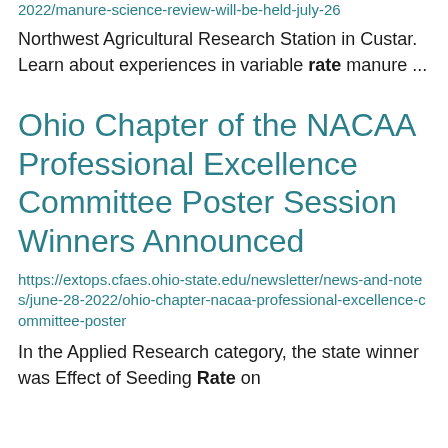2022/manure-science-review-will-be-held-july-26
Northwest Agricultural Research Station in Custar. Learn about experiences in variable rate manure ...
Ohio Chapter of the NACAA Professional Excellence Committee Poster Session Winners Announced
https://extops.cfaes.ohio-state.edu/newsletter/news-and-notes/june-28-2022/ohio-chapter-nacaa-professional-excellence-committee-poster
In the Applied Research category, the state winner was Effect of Seeding Rate on